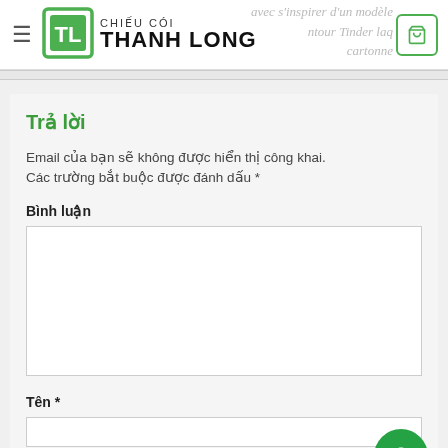CHIẾU CÓI THANH LONG
Trả lời
Email của bạn sẽ không được hiển thị công khai. Các trường bắt buộc được đánh dấu *
Bình luận
Tên *